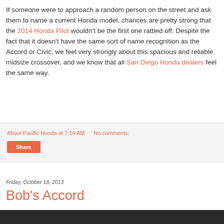If someone were to approach a random person on the street and ask them to name a current Honda model, chances are pretty strong that the 2014 Honda Pilot wouldn't be the first one rattled off. Despite the fact that it doesn't have the same sort of name recognition as the Accord or Civic, we feel very strongly about this spacious and reliable midsize crossover, and we know that all San Diego Honda dealers feel the same way.
About Pacific Honda at 7:14 AM   No comments:
Share
Friday, October 18, 2013
Bob's Accord
[Figure (photo): Dark/black image area at the bottom of the page, partially visible]